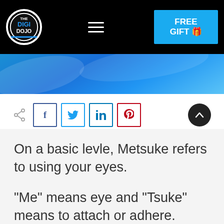The Digi Dojo — FREE GIFT
[Figure (screenshot): Website screenshot with The Digi Dojo logo, hamburger menu, and FREE GIFT button on black navbar, followed by blue banner, social share buttons (Facebook, Twitter, LinkedIn, Pinterest), and article text about Metsuke]
On a basic levle, Metsuke refers to using your eyes.
"Me" means eye and "Tsuke" means to attach or adhere. Literally speaking: attach your